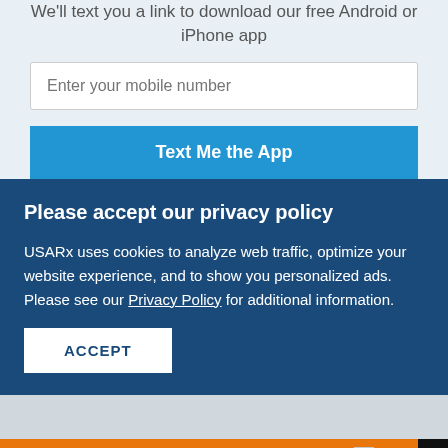We'll text you a link to download our free Android or iPhone app
Enter your mobile number
Text Me the App
Please accept our privacy policy
USARx uses cookies to analyze web traffic, optimize your website experience, and to show you personalized ads. Please see our Privacy Policy for additional information.
ACCEPT
You can help hungry kids.
LEARN HOW